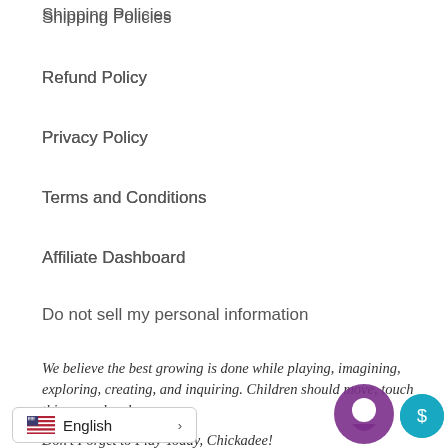Shipping Policies
Refund Policy
Privacy Policy
Terms and Conditions
Affiliate Dashboard
Do not sell my personal information
We believe the best growing is done while playing, imagining, exploring, creating, and inquiring. Children should move, touch things, and make...
Don't Forget to Play Today, Chickadee!